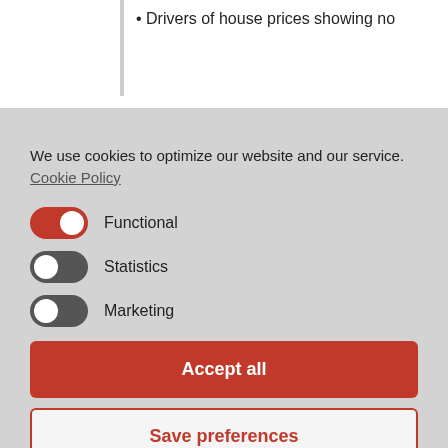Drivers of house prices showing no
We use cookies to optimize our website and our service. Cookie Policy
Functional
Statistics
Marketing
Accept all
Save preferences
Tighter credit standards will further